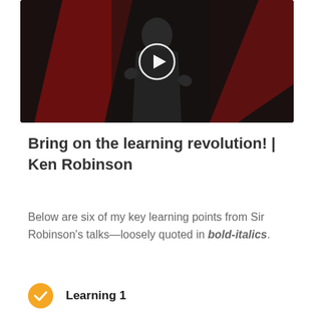[Figure (screenshot): Video thumbnail showing a man (Ken Robinson) speaking on a TED stage with dark red background lighting, with a circular play button overlay in the center.]
Bring on the learning revolution! | Ken Robinson
Below are six of my key learning points from Sir Robinson's talks—loosely quoted in bold-italics.
Learning 1